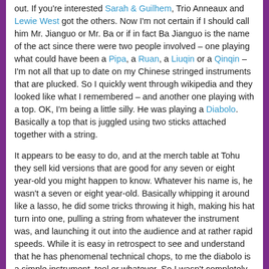out. If you're interested Sarah & Guilhem, Trio Anneaux and Lewie West got the others. Now I'm not certain if I should call him Mr. Jianguo or Mr. Ba or if in fact Ba Jianguo is the name of the act since there were two people involved – one playing what could have been a Pipa, a Ruan, a Liuqin or a Qinqin – I'm not all that up to date on my Chinese stringed instruments that are plucked. So I quickly went through wikipedia and they looked like what I remembered – and another one playing with a top. OK, I'm being a little silly. He was playing a Diabolo. Basically a top that is juggled using two sticks attached together with a string.
It appears to be easy to do, and at the merch table at Tohu they sell kid versions that are good for any seven or eight year-old you might happen to know. Whatever his name is, he wasn't a seven or eight year-old. Basically whipping it around like a lasso, he did some tricks throwing it high, making his hat turn into one, pulling a string from whatever the instrument was, and launching it out into the audience and at rather rapid speeds. While it is easy in retrospect to see and understand that he has phenomenal technical chops, to me the diabolo is a simple instrument, tool or whatever. So I wasn't completely thrilled down to the bottom of my feet. More like a calculated appreciation of his skill.